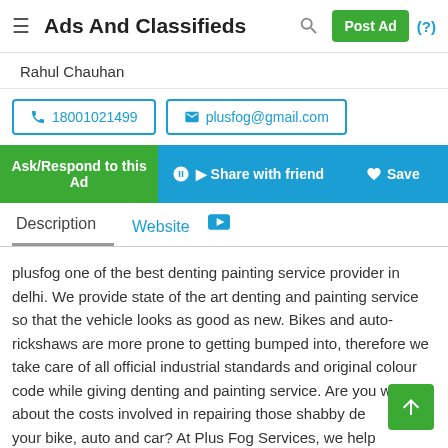Ads And Classifieds | Post Ad | (?)
Rahul Chauhan
📞 18001021499   ✉ plusfog@gmail.com
Ask/Respond to this Ad   Share with friend   Save
Description   Website   🎥
plusfog one of the best denting painting service provider in delhi. We provide state of the art denting and painting service so that the vehicle looks as good as new. Bikes and auto-rickshaws are more prone to getting bumped into, therefore we take care of all official industrial standards and original colour code while giving denting and painting service. Are you worried about the costs involved in repairing those shabby dents on your bike, auto and car? At Plus Fog Services, we help you get an estimate on your bike, auto and car denting and painting